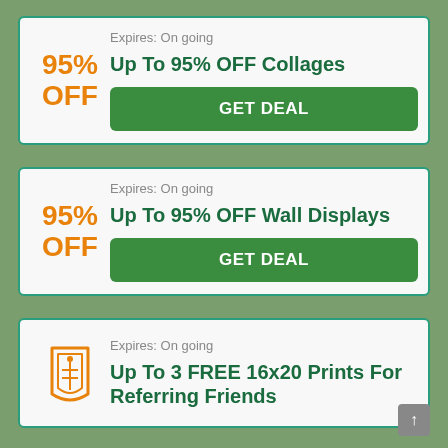Expires: On going
Up To 95% OFF Collages
GET DEAL
Expires: On going
Up To 95% OFF Wall Displays
GET DEAL
Expires: On going
Up To 3 FREE 16x20 Prints For Referring Friends